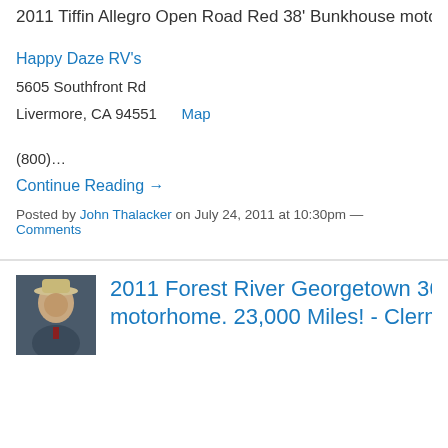2011 Tiffin Allegro Open Road Red 38' Bunkhouse motorh…
Happy Daze RV's
5605 Southfront Rd
Livermore, CA 94551    Map
(800)…
Continue Reading →
Posted by John Thalacker on July 24, 2011 at 10:30pm — Comments
2011 Forest River Georgetown 360. F… motorhome. 23,000 Miles! - Clermont,…